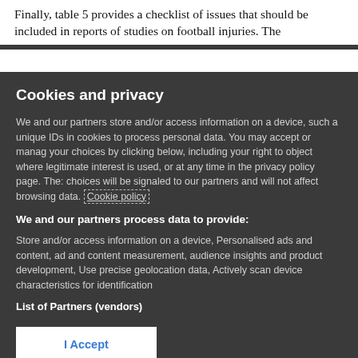Finally, table 5 provides a checklist of issues that should be included in reports of studies on football injuries. The
Cookies and privacy
We and our partners store and/or access information on a device, such as unique IDs in cookies to process personal data. You may accept or manage your choices by clicking below, including your right to object where legitimate interest is used, or at any time in the privacy policy page. These choices will be signaled to our partners and will not affect browsing data. Cookie policy
We and our partners process data to provide:
Store and/or access information on a device, Personalised ads and content, ad and content measurement, audience insights and product development, Use precise geolocation data, Actively scan device characteristics for identification
List of Partners (vendors)
I Accept